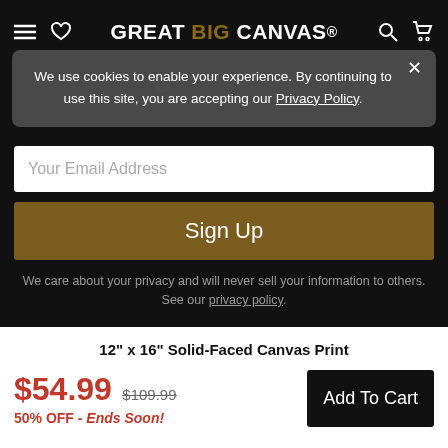GREAT BIG CANVAS.
We use cookies to enable your experience. By continuing to use this site, you are accepting our Privacy Policy.
Your Email Address
Sign Up
We care about your privacy and will never sell your information to others. See our privacy policy.
12" x 16" Solid-Faced Canvas Print
$54.99  $109.99  50% OFF - Ends Soon!
Add To Cart